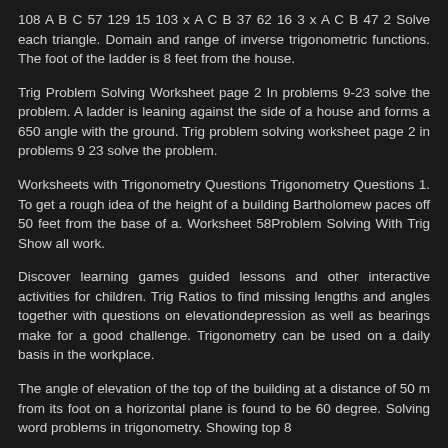108 A B C 57 129 15 103 x A C B 37 62 16 3 x A C B 47 2 Solve each triangle. Domain and range of inverse trigonometric functions. The foot of the ladder is 8 feet from the house.
Trig Problem Solving Worksheet page 2 In problems 9-23 solve the problem. A ladder is leaning against the side of a house and forms a 650 angle with the ground. Trig problem solving worksheet page 2 in problems 9 23 solve the problem.
Worksheets with Trigonometry Questions Trigonometry Questions 1. To get a rough idea of the height of a building Bartholomew paces off 50 feet from the base of a. Worksheet 58Problem Solving With Trig Show all work.
Discover learning games guided lessons and other interactive activities for children. Trig Ratios to find missing lengths and angles together with questions on elevationdepression as well as bearings make for a good challenge. Trigonometry can be used on a daily basis in the workplace.
The angle of elevation of the top of the building at a distance of 50 m from its foot on a horizontal plane is found to be 60 degree. Solving word problems in trigonometry. Showing top 8